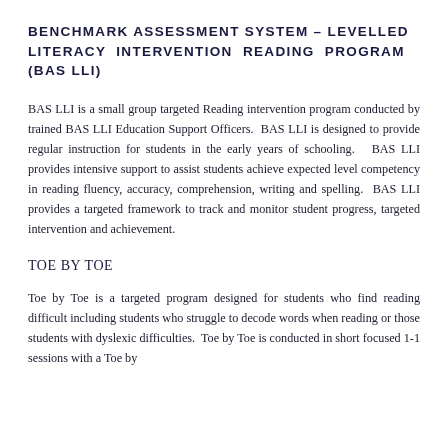BENCHMARK ASSESSMENT SYSTEM – LEVELLED LITERACY INTERVENTION READING PROGRAM (BAS LLI)
BAS LLI is a small group targeted Reading intervention program conducted by trained BAS LLI Education Support Officers.  BAS LLI is designed to provide regular instruction for students in the early years of schooling.  BAS LLI provides intensive support to assist students achieve expected level competency in reading fluency, accuracy, comprehension, writing and spelling.  BAS LLI provides a targeted framework to track and monitor student progress, targeted intervention and achievement.
TOE BY TOE
Toe by Toe is a targeted program designed for students who find reading difficult including students who struggle to decode words when reading or those students with dyslexic difficulties.  Toe by Toe is conducted in short focused 1-1 sessions with a Toe by